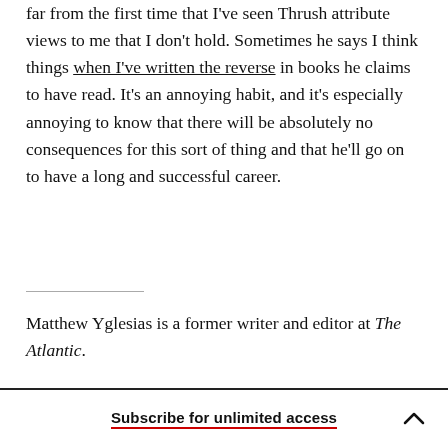far from the first time that I've seen Thrush attribute views to me that I don't hold. Sometimes he says I think things when I've written the reverse in books he claims to have read. It's an annoying habit, and it's especially annoying to know that there will be absolutely no consequences for this sort of thing and that he'll go on to have a long and successful career.
Matthew Yglesias is a former writer and editor at The Atlantic.
Subscribe for unlimited access